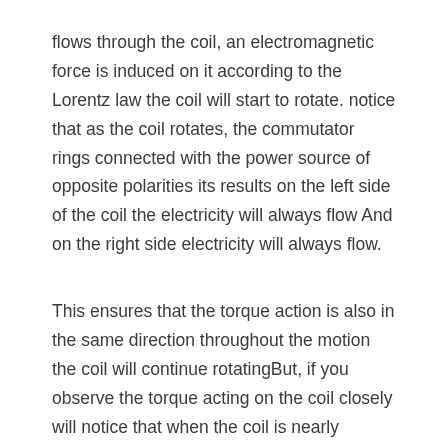flows through the coil, an electromagnetic force is induced on it according to the Lorentz law the coil will start to rotate. notice that as the coil rotates, the commutator rings connected with the power source of opposite polarities its results on the left side of the coil the electricity will always flow And on the right side electricity will always flow.
This ensures that the torque action is also in the same direction throughout the motion the coil will continue rotatingBut, if you observe the torque acting on the coil closely will notice that when the coil is nearly perpendicular to the magnetic flux the torque action nears zeroes a result there will be an irregular motion of